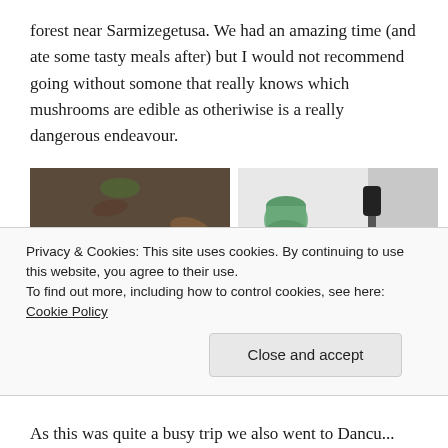forest near Sarmizegetusa. We had an amazing time (and ate some tasty meals after) but I would not recommend going without somone that really knows which mushrooms are edible as otheriwise is a really dangerous endeavour.
[Figure (photo): Two photos side by side: left photo shows a red and white mushroom (likely Amanita muscaria) growing on forest floor with leaves and moss; right photo shows a cardboard box filled with freshly picked edible mushrooms (chanterelles/golden mushrooms) on a kitchen counter.]
Privacy & Cookies: This site uses cookies. By continuing to use this website, you agree to their use.
To find out more, including how to control cookies, see here: Cookie Policy
Close and accept
As this was quite a busy trip we also went to Dancu...